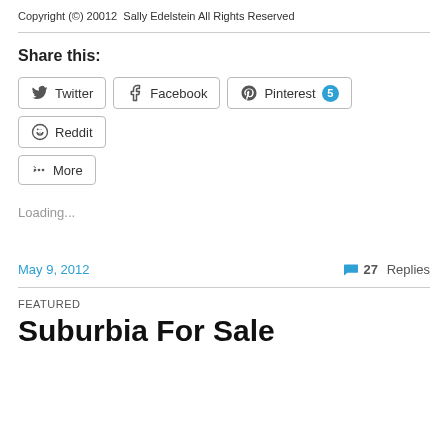Copyright (©) 20012  Sally Edelstein All Rights Reserved
Share this:
Twitter  Facebook  Pinterest 5  Reddit  More
Loading...
May 9, 2012
27 Replies
FEATURED
Suburbia For Sale